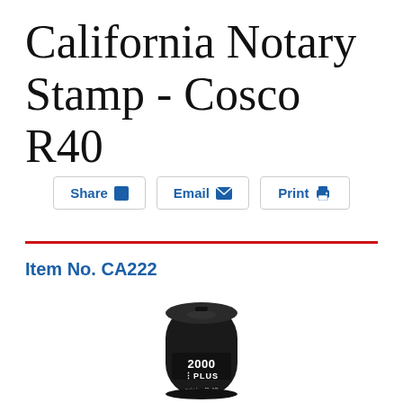California Notary Stamp - Cosco R40
Share  Email  Print
Item No. CA222
[Figure (photo): A black cylindrical Cosco 2000 Plus printer R40 self-inking rubber stamp shown vertically, with the brand logo visible on the body.]